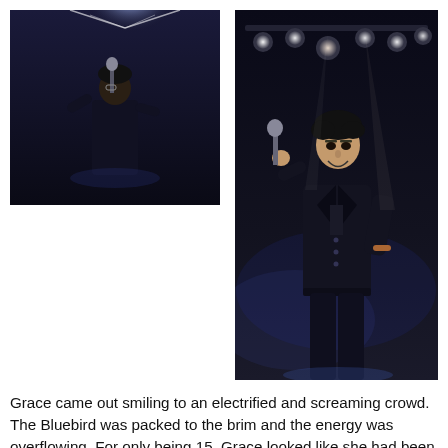[Figure (photo): Concert photo of a young performer singing into a microphone on a dark stage with a bright spotlight behind them, wearing a black outfit.]
[Figure (photo): Concert photo of a young performer singing into a microphone on a dark stage with multiple stage lights visible above, wearing a black outfit, surrounded by haze.]
Grace came out smiling to an electrified and screaming crowd. The Bluebird was packed to the brim and the energy was overflowing. For only being 15, Grace looked like she had been performing sold-out shows for decades. She bounced around stage, dancing and jumping and putting her heart and soul into every song. The audience sang along to classics like "Ur So